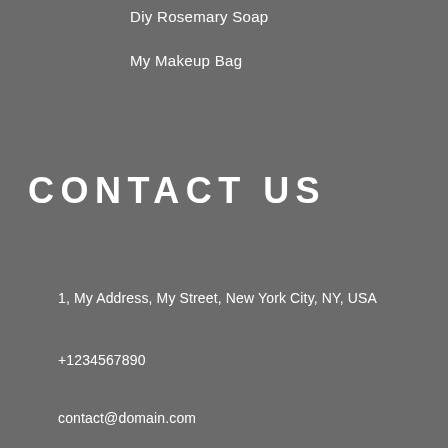Diy Rosemary Soap
My Makeup Bag
CONTACT US
1, My Address, My Street, New York City, NY, USA
+1234567890
contact@domain.com